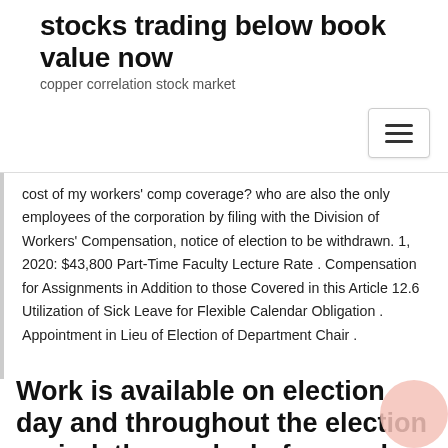stocks trading below book value now
copper correlation stock market
cost of my workers' comp coverage? who are also the only employees of the corporation by filing with the Division of Workers' Compensation, notice of election to be withdrawn. 1, 2020: $43,800 Part-Time Faculty Lecture Rate . Compensation for Assignments in Addition to those Covered in this Article 12.6 Utilization of Sick Leave for Flexible Calendar Obligation . Appointment in Lieu of Election of Department Chair .
Work is available on election day and throughout the election period, the weeks before and after election day. Working at an election is a great opportunity to learn now